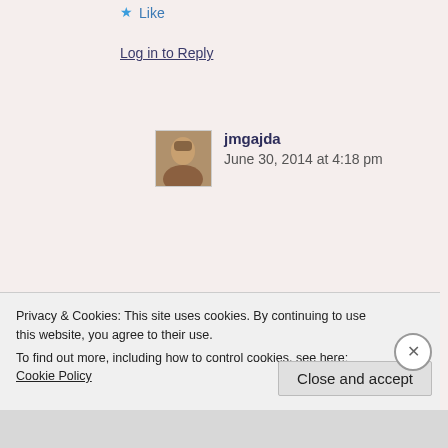★ Like
Log in to Reply
[Figure (photo): Small avatar photo of commenter jmgajda, showing a person with dark hair]
jmgajda
June 30, 2014 at 4:18 pm
Wow! You guys did so much work, and a lot of this back before ancestry.com, right? Which just boggles my mind. I don't even know
Privacy & Cookies: This site uses cookies. By continuing to use this website, you agree to their use. To find out more, including how to control cookies, see here: Cookie Policy
Close and accept